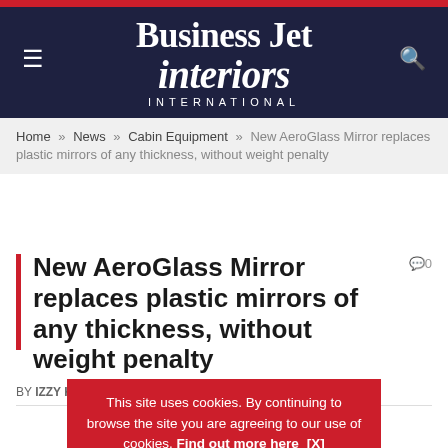[Figure (logo): Business Jet Interiors International magazine logo on dark navy background with red top bar, hamburger menu icon on left, search icon on right]
Home » News » Cabin Equipment » New AeroGlass Mirror replaces plastic mirrors of any thickness, without weight penalty
New AeroGlass Mirror replaces plastic mirrors of any thickness, without weight penalty
BY IZZY KIN[G] ... NT
This site uses cookies. By continuing to browse the site you are agreeing to our use of cookies. Find out more here [X]